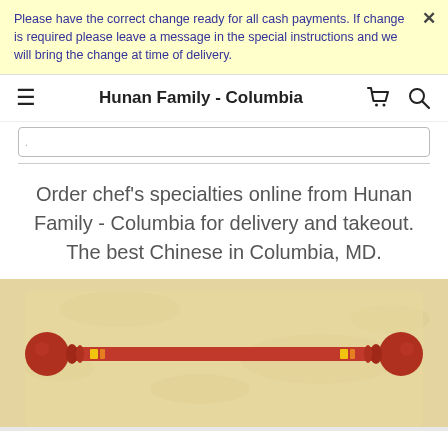Please have the correct change ready for all cash payments. If change is required please leave a message in the special instructions and we will bring the change at time of delivery.
Hunan Family - Columbia
Order chef's specialties online from Hunan Family - Columbia for delivery and takeout. The best Chinese in Columbia, MD.
[Figure (photo): Restaurant decorative image showing chopsticks or a rack on a textured beige/parchment background with red and yellow decorative elements]